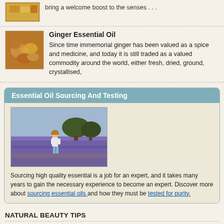bring a welcome boost to the senses . . .
Ginger Essential Oil
Since time immemorial ginger has been valued as a spice and medicine, and today it is still traded as a valued commodity around the world, either fresh, dried, ground, crystallised,
[Figure (photo): Photo of ginger root pieces]
Essential Oil Sourcing And Testing
[Figure (photo): Photo of a person in a lavender field]
Sourcing high quality essential is a job for an expert, and it takes many years to gain the necessary experience to become an expert. Discover more about sourcing essential oils and how they must be tested for purity.
NATURAL BEAUTY TIPS
Aloe Vera – The Amazing Healing Herb
Aloe Vera delivers amazing healing benefits, making it perfectly suited for use with essential oils in aromatherapy. Used since
[Figure (photo): Photo of aloe vera plant leaves with water droplets]